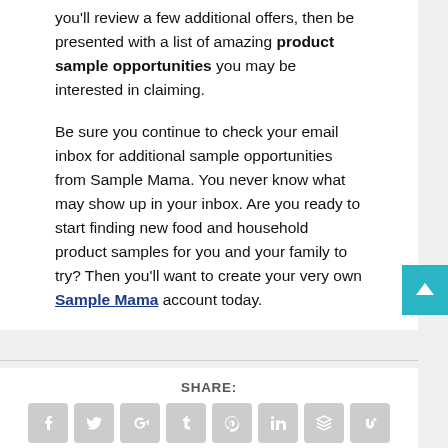you'll review a few additional offers, then be presented with a list of amazing product sample opportunities you may be interested in claiming.

Be sure you continue to check your email inbox for additional sample opportunities from Sample Mama. You never know what may show up in your inbox. Are you ready to start finding new food and household product samples for you and your family to try? Then you'll want to create your very own Sample Mama account today.
[Figure (infographic): Social media share icons: Facebook, Twitter, Google+, Tumblr, Pinterest, LinkedIn, Buffer, StumbleUpon, Email, and Print. A teal back-to-top button with upward arrow is shown on the right.]